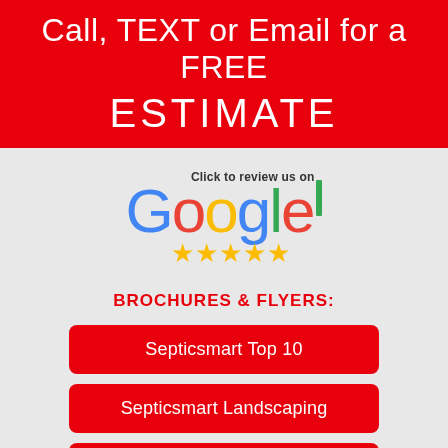Call, TEXT or Email for a FREE ESTIMATE
[Figure (logo): Google logo with 'Click to review us on' text above and five gold stars below]
BROCHURES & FLYERS:
Septicsmart Top 10
Septicsmart Landscaping
Septicsmart Infographic